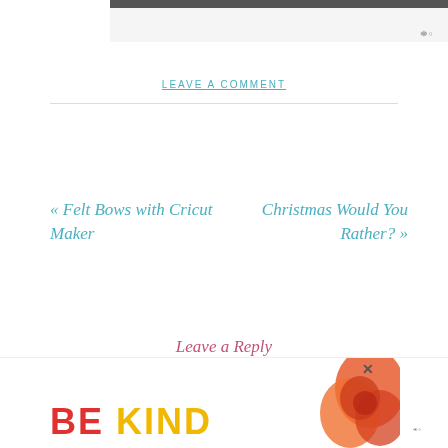[Figure (screenshot): Top gray banner area with dark bar and Mediavine logo icon]
LEAVE A COMMENT
« Felt Bows with Cricut Maker
Christmas Would You Rather? »
Leave a Reply
[Figure (illustration): Advertisement banner with 'BE KIND' text in red and yellow, decorative floral illustration, close button, and Mediavine logo]